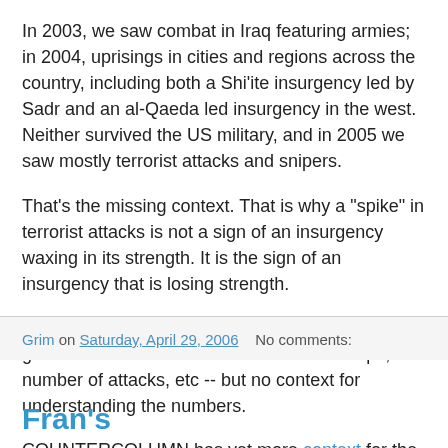In 2003, we saw combat in Iraq featuring armies; in 2004, uprisings in cities and regions across the country, including both a Shi'ite insurgency led by Sadr and an al-Qaeda led insurgency in the west. Neither survived the US military, and in 2005 we saw mostly terrorist attacks and snipers.
That's the missing context. That is why a "spike" in terrorist attacks is not a sign of an insurgency waxing in its strength. It is the sign of an insurgency that is losing strength.
This is a major complaint with war reporting. We get the numbers -- the number of dead troops, the number of attacks, etc -- but no context for understanding the numbers.
COUNTERCOLUMN has yet more context for the situation.
Grim on Saturday, April 29, 2006    No comments:
Fran's